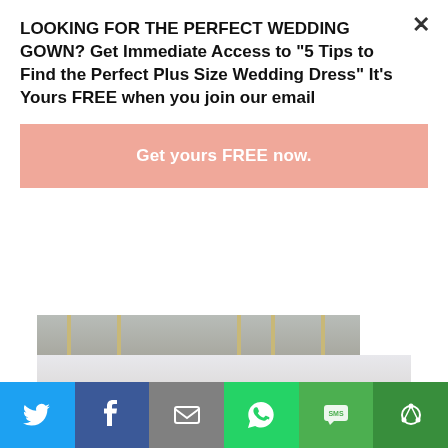LOOKING FOR THE PERFECT WEDDING GOWN? Get Immediate Access to "5 Tips to Find the Perfect Plus Size Wedding Dress" It's Yours FREE when you join our email
Get yours FREE now.
[Figure (photo): Partial view of a table setting with gold accents]
[Figure (photo): Wedding couple looking at each other, bride in white veil and groom in dark suit with boutonniere. Text overlay reads 'Continue Reading']
[Figure (infographic): Social share bar with Twitter (blue), Facebook (dark blue), Email (gray), WhatsApp (green), SMS (green), Copy link (dark green) buttons]